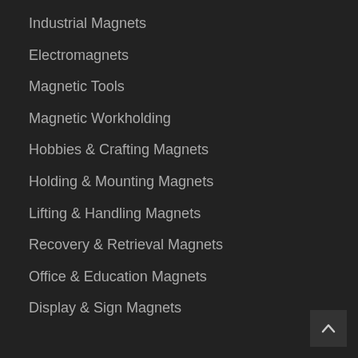Industrial Magnets
Electromagnets
Magnetic Tools
Magnetic Workholding
Hobbies & Crafting Magnets
Holding & Mounting Magnets
Lifting & Handling Magnets
Recovery & Retrieval Magnets
Office & Education Magnets
Display & Sign Magnets
[Figure (other): Scroll-to-top button with upward chevron arrow on dark background, positioned at bottom-right corner]